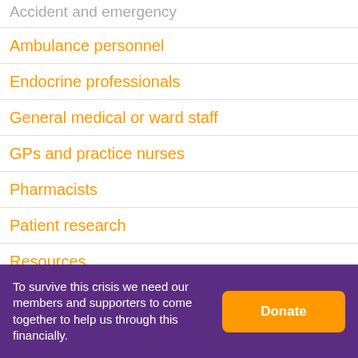Accident and emergency
Ambulance personnel
Endocrine professionals
General medical or ward staff
GPs and practice nurses
Pharmacists
Patient research
Resources
[Figure (other): Two purple promotional cards side by side. Left card heading: HOW CAN THE. Right card heading: INFORMATION FOR.]
To survive this crisis we need our members and supporters to come together to help us through this financially.
Donate